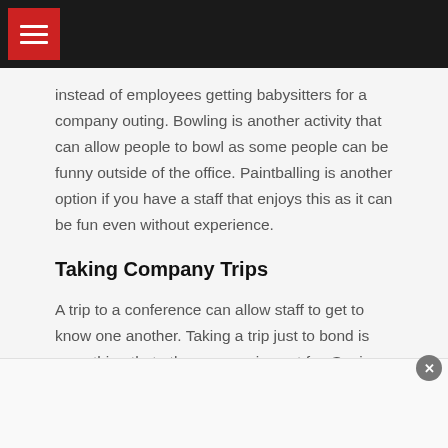[menu icon header bar]
instead of employees getting babysitters for a company outing. Bowling is another activity that can allow people to bowl as some people can be funny outside of the office. Paintballing is another option if you have a staff that enjoys this as it can be fun even without experience.
Taking Company Trips
A trip to a conference can allow staff to get to know one another. Taking a trip just to bond is something that other companies opt for. Seeing a supervisor in a new light can make you more comfortable going to